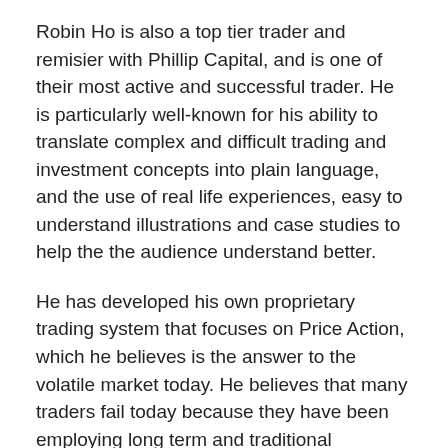Robin Ho is also a top tier trader and remisier with Phillip Capital, and is one of their most active and successful trader. He is particularly well-known for his ability to translate complex and difficult trading and investment concepts into plain language, and the use of real life experiences, easy to understand illustrations and case studies to help the the audience understand better.
He has developed his own proprietary trading system that focuses on Price Action, which he believes is the answer to the volatile market today. He believes that many traders fail today because they have been employing long term and traditional indicators to short term trading, and to achieve trading mastery, traders must understand market behaviour and develop a trading strategy that fits the trader's profile.
In this workshop, come learn how to manage your trading